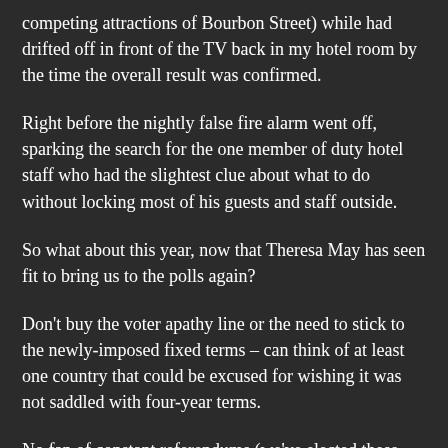competing attractions of Bourbon Street) while had drifted off in front of the TV back in my hotel room by the time the overall result was confirmed.
Right before the nightly false fire alarm went off, sparking the search for the one member of duty hotel staff who had the slightest clue about what to do without locking most of his guests and staff outside.
So what about this year, now that Theresa May has seen fit to bring us to the polls again?
Don't buy the voter apathy line or the need to stick to the newly-imposed fixed terms – can think of at least one country that could be excused for wishing it was not saddled with four-year terms.
No fan of constant referendums (we've elected these